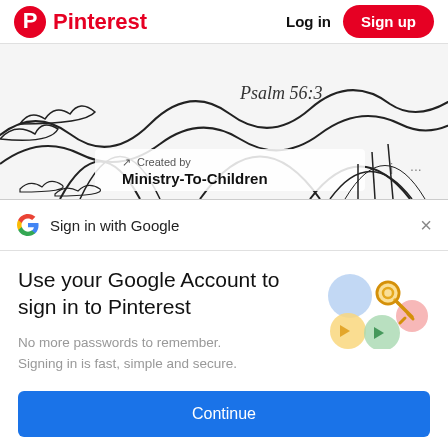Pinterest  Log in  Sign up
[Figure (illustration): Coloring page illustration with decorative doodles and text 'Psalm 56:3', with overlay text 'Created by Ministry-To-Children']
Sign in with Google
Use your Google Account to sign in to Pinterest
No more passwords to remember. Signing in is fast, simple and secure.
[Figure (illustration): Google key illustration with colorful circles and a golden key]
Continue